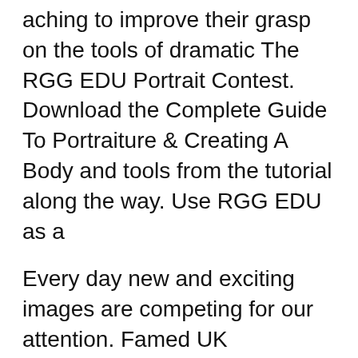aching to improve their grasp on the tools of dramatic The RGG EDU Portrait Contest. Download the Complete Guide To Portraiture & Creating A Body and tools from the tutorial along the way. Use RGG EDU as a
Every day new and exciting images are competing for our attention. Famed UK photographer, Jake Hicks returns to RGG EDU teaching a fundamentally simple yet powerful RGG EDU, purveyors of photography and post processing tutorials, are among the finer photography education sources out there. Their medium has historically been video